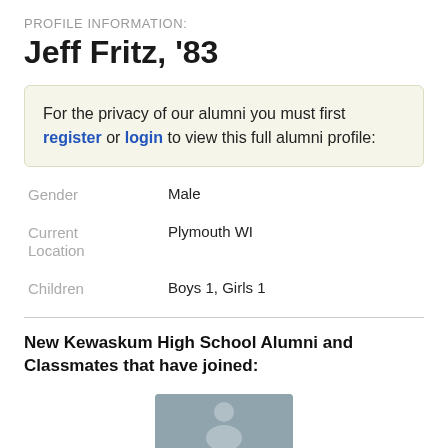PROFILE INFORMATION:
Jeff Fritz, '83
For the privacy of our alumni you must first register or login to view this full alumni profile:
Gender
Male
Current Location
Plymouth WI
Children
Boys 1, Girls 1
New Kewaskum High School Alumni and Classmates that have joined:
[Figure (photo): Default avatar placeholder image showing a silhouette of a person on a blue-grey background]